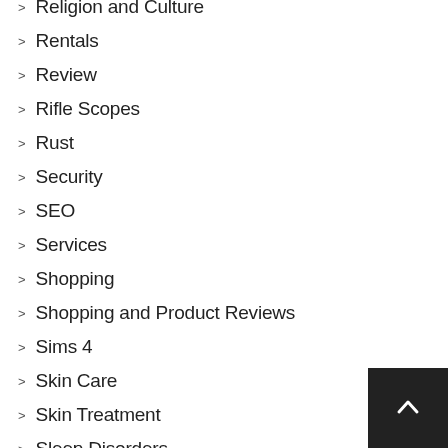Religion and Culture
Rentals
Review
Rifle Scopes
Rust
Security
SEO
Services
Shopping
Shopping and Product Reviews
Sims 4
Skin Care
Skin Treatment
Sleep Disorders
Social Media